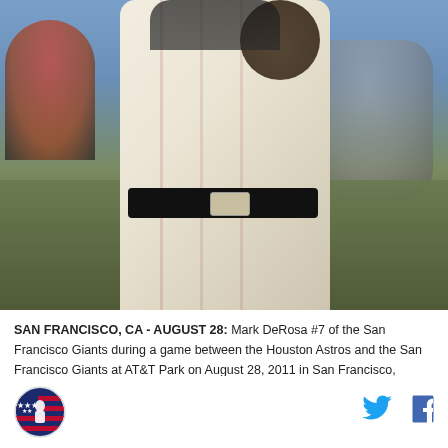[Figure (photo): Baseball player Mark DeRosa #7 of the San Francisco Giants in white uniform mid-swing at AT&T Park, with stadium crowd visible in background.]
SAN FRANCISCO, CA - AUGUST 28: Mark DeRosa #7 of the San Francisco Giants during a game between the Houston Astros and the San Francisco Giants at AT&T Park on August 28, 2011 in San Francisco, California. (Photo by Tony Medina/Getty Images)  |  Getty Images
[Figure (logo): Circular logo with American flag and figure, appears to be a sports media outlet logo]